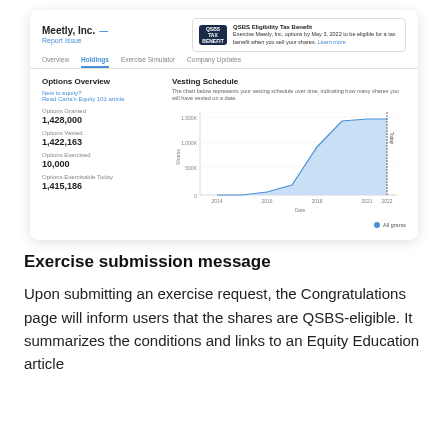[Figure (screenshot): Screenshot of Meetly, Inc. equity platform showing Holdings tab with Options Overview (Options Granted: 1,428,000; Options Vested: 1,422,163; Options Exercised: 10,000; Options Exercisable Today: 1,415,186) and a Vesting Schedule area chart showing shares vesting over time from 2014 to 2021. A QSBS Eligibility Tax Benefit banner is shown in the top right.]
Exercise submission message
Upon submitting an exercise request, the Congratulations page will inform users that the shares are QSBS-eligible. It summarizes the conditions and links to an Equity Education article